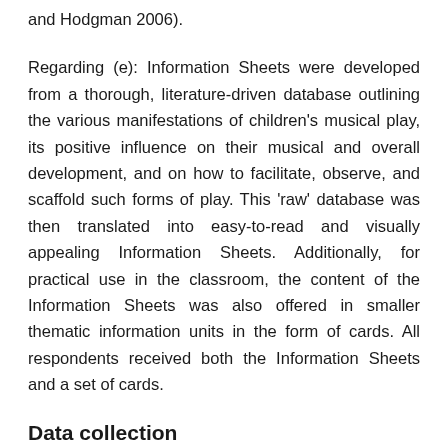and Hodgman 2006).
Regarding (e): Information Sheets were developed from a thorough, literature-driven database outlining the various manifestations of children's musical play, its positive influence on their musical and overall development, and on how to facilitate, observe, and scaffold such forms of play. This 'raw' database was then translated into easy-to-read and visually appealing Information Sheets. Additionally, for practical use in the classroom, the content of the Information Sheets was also offered in smaller thematic information units in the form of cards. All respondents received both the Information Sheets and a set of cards.
Data collection
Data were collected as follows: